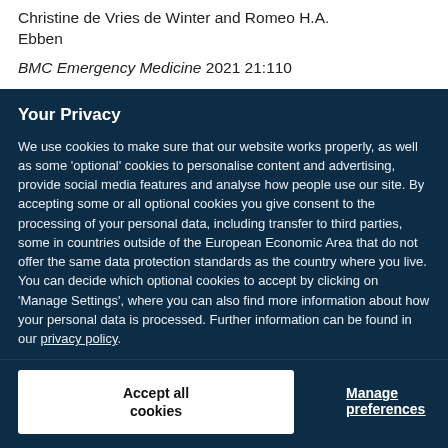Christine de Vries de Winter and Romeo H.A. Ebben
BMC Emergency Medicine 2021 21:110
Your Privacy
We use cookies to make sure that our website works properly, as well as some 'optional' cookies to personalise content and advertising, provide social media features and analyse how people use our site. By accepting some or all optional cookies you give consent to the processing of your personal data, including transfer to third parties, some in countries outside of the European Economic Area that do not offer the same data protection standards as the country where you live. You can decide which optional cookies to accept by clicking on 'Manage Settings', where you can also find more information about how your personal data is processed. Further information can be found in our privacy policy.
Accept all cookies
Manage preferences